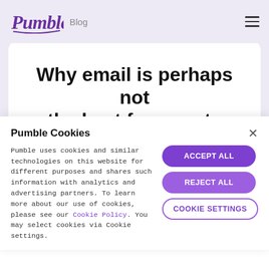Pumble Blog
Why email is perhaps not the best for remote communication
Pumble Cookies
Pumble uses cookies and similar technologies on this website for different purposes and shares such information with analytics and advertising partners. To learn more about our use of cookies, please see our Cookie Policy. You may select cookies via Cookie settings.
ACCEPT ALL
REJECT ALL
COOKIE SETTINGS
time in order to rummage through an email